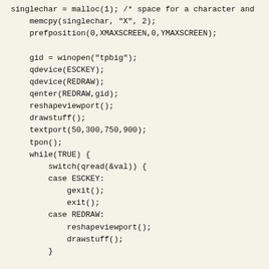singlechar = malloc(1); /* space for a character and...
    memcpy(singlechar, "X", 2);
    prefposition(0,XMAXSCREEN,0,YMAXSCREEN);

    gid = winopen("tpbig");
    qdevice(ESCKEY);
    qdevice(REDRAW);
    qenter(REDRAW,gid);
    reshapeviewport();
    drawstuff();
    textport(50,300,750,900);
    tpon();
    while(TRUE) {
        switch(qread(&val)) {
        case ESCKEY:
            gexit();
            exit();
        case REDRAW:
            reshapeviewport();
            drawstuff();
        }

    }

}
drawstuff()
{
    register long i, j;              /* draw an ice-cream c...
    color(WHITE);
    clear();
    color(YELLOW);